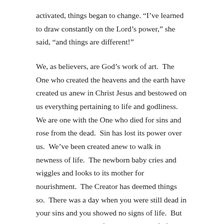activated, things began to change. “I’ve learned to draw constantly on the Lord’s power,” she said, “and things are different!”
We, as believers, are God’s work of art.  The One who created the heavens and the earth have created us anew in Christ Jesus and bestowed on us everything pertaining to life and godliness.  We are one with the One who died for sins and rose from the dead.  Sin has lost its power over us.  We’ve been created anew to walk in newness of life.  The newborn baby cries and wiggles and looks to its mother for nourishment.  The Creator has deemed things so.  There was a day when you were still dead in your sins and you showed no signs of life.  But then you were born of the Spirit with life from above into God’s family divine.  And then there were signs of life.  God was at work in you to will and to work.